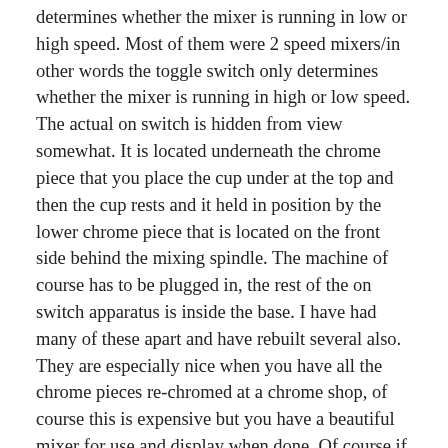determines whether the mixer is running in low or high speed. Most of them were 2 speed mixers/in other words the toggle switch only determines whether the mixer is running in high or low speed. The actual on switch is hidden from view somewhat. It is located underneath the chrome piece that you place the cup under at the top and then the cup rests and it held in position by the lower chrome piece that is located on the front side behind the mixing spindle. The machine of course has to be plugged in, the rest of the on switch apparatus is inside the base. I have had many of these apart and have rebuilt several also. They are especially nice when you have all the chrome pieces re-chromed at a chrome shop, of course this is expensive but you have a beautiful mixer for use and display when done. Of course if you go this far, new brushes if needed and check the bearings and repack if needed also. It takes special tools to get one of these apart. Of course it can be fun reconditioning